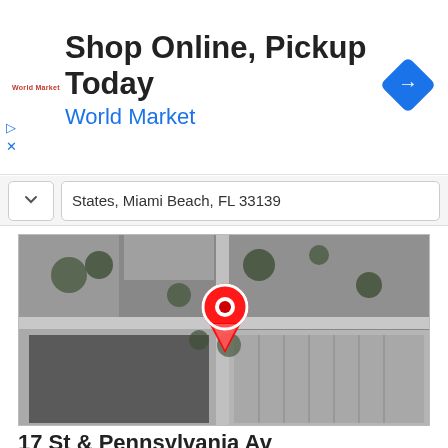[Figure (infographic): World Market advertisement banner with logo, text 'Shop Online, Pickup Today' and 'World Market', a blue diamond navigation icon, and play/close controls.]
States, Miami Beach, FL 33139
[Figure (map): Satellite/aerial map view showing an intersection at 17 St & Pennsylvania Av in Miami Beach, FL with a red location pin marker.]
17 St & Pennsylvania Av
Establishment
Bus station
Transit station
United States, Miami Beach, FL 33139